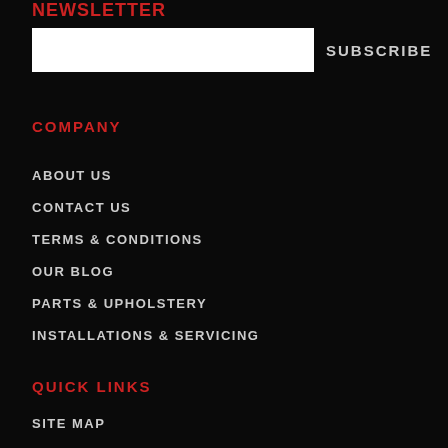NEWSLETTER
SUBSCRIBE
COMPANY
ABOUT US
CONTACT US
TERMS & CONDITIONS
OUR BLOG
PARTS & UPHOLSTERY
INSTALLATIONS & SERVICING
QUICK LINKS
SITE MAP
SEARCH TERMS
ADVANCED SEARCH
ACCOUNT